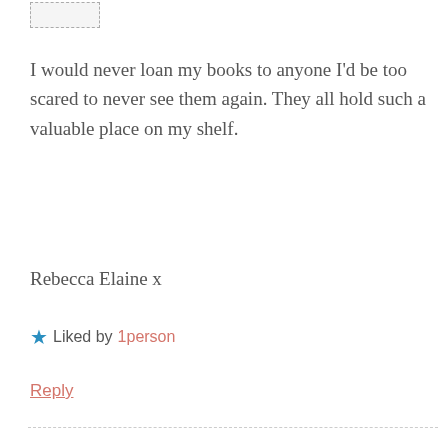[Figure (other): Partial avatar/profile image stub, dashed border box at top left]
I would never loan my books to anyone I'd be too scared to never see them again. They all hold such a valuable place on my shelf.
Rebecca Elaine x
★ Liked by 1person
Reply
Privacy & Cookies: This site uses cookies. By continuing to use this website, you agree to their use.
To find out more, including how to control cookies, see here: Cookie Policy
Close and accept